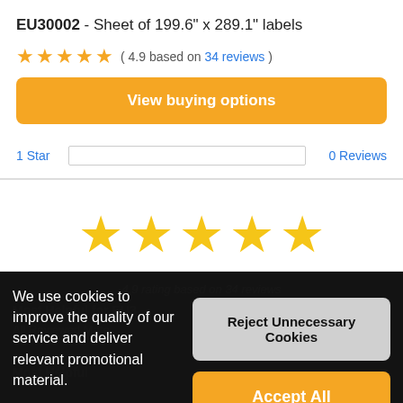EU30002 - Sheet of 199.6" x 289.1" labels
( 4.9 based on 34 reviews )
View buying options
1 Star   0 Reviews
[Figure (other): Five large yellow stars rating display]
4.9 rating based on 34 reviews
We use cookies to improve the quality of our service and deliver relevant promotional material.
See Details
Most Helpful for EU3
All Reviewed Mate
Reject Unnecessary Cookies
Accept All
Most Helpful